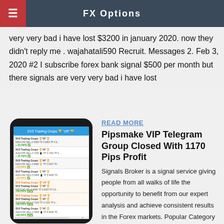FX Options
very very bad i have lost $3200 in january 2020. now they didn't reply me . wajahatali590 Recruit. Messages 2. Feb 3, 2020 #2 I subscribe forex bank signal $500 per month but there signals are very very bad i have lost
[Figure (screenshot): Screenshot of a smartphone displaying SV3 Trading Group VIP Telegram channel with multiple forex trade signals showing NZD/CAD, AUD/CHF buy/sell entries with pip results (+20 PIPS, +20 PIPS, +20 PIPS, +20 PIPS, +60 PIPS, +60 PIPS, +60 PIPS) shown with green checkmark icons]
READ MORE
Pipsmake VIP Telegram Group Closed With 1170 Pips Profit
Signals Broker is a signal service giving people from all walks of life the opportunity to benefit from our expert analysis and achieve consistent results in the Forex markets. Popular Category Forex news